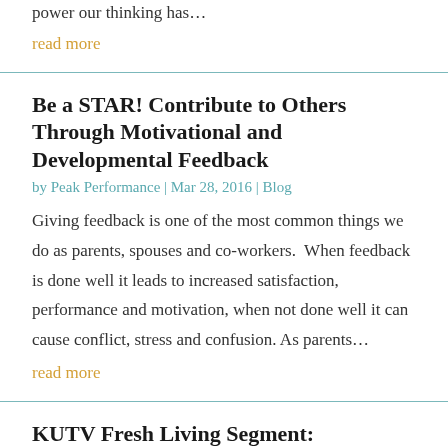power our thinking has…
read more
Be a STAR! Contribute to Others Through Motivational and Developmental Feedback
by Peak Performance | Mar 28, 2016 | Blog
Giving feedback is one of the most common things we do as parents, spouses and co-workers.  When feedback is done well it leads to increased satisfaction, performance and motivation, when not done well it can cause conflict, stress and confusion. As parents…
read more
KUTV Fresh Living Segment: Contribute